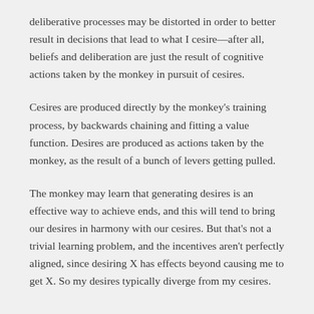deliberative processes may be distorted in order to better result in decisions that lead to what I cesire—after all, beliefs and deliberation are just the result of cognitive actions taken by the monkey in pursuit of cesires.
Cesires are produced directly by the monkey's training process, by backwards chaining and fitting a value function. Desires are produced as actions taken by the monkey, as the result of a bunch of levers getting pulled.
The monkey may learn that generating desires is an effective way to achieve ends, and this will tend to bring our desires in harmony with our cesires. But that's not a trivial learning problem, and the incentives aren't perfectly aligned, since desiring X has effects beyond causing me to get X. So my desires typically diverge from my cesires.